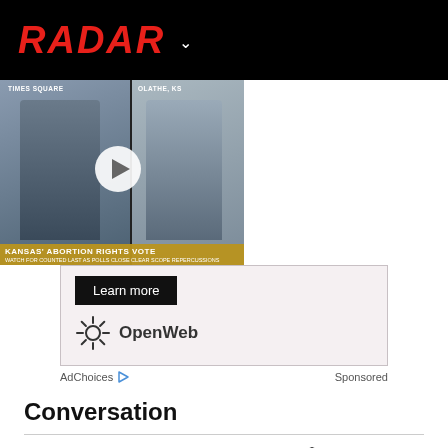RADAR
[Figure (screenshot): Video thumbnail showing two TV news anchors split screen: 'TIMES SQUARE' on left and 'OLATHE, KS' on right, with lower third reading 'KANSAS ABORTION RIGHTS VOTE'. A play button is visible in the center.]
[Figure (logo): OpenWeb logo with sunburst icon and 'OpenWeb' text, inside an ad panel with 'Learn more' button]
AdChoices   Sponsored
Conversation
Commenting as Guest
Log in | Sign up